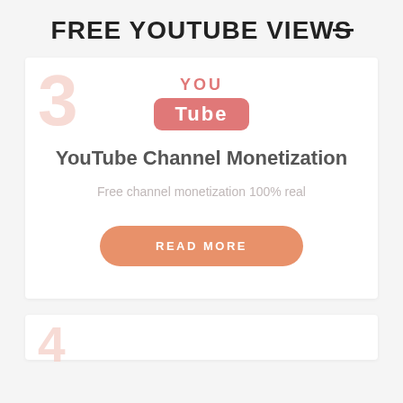FREE YOUTUBE VIEWS
[Figure (logo): YouTube logo with 'YOU' text above a rounded rectangle containing 'Tube' in white, styled in salmon/pink color]
YouTube Channel Monetization
Free channel monetization 100% real
READ MORE